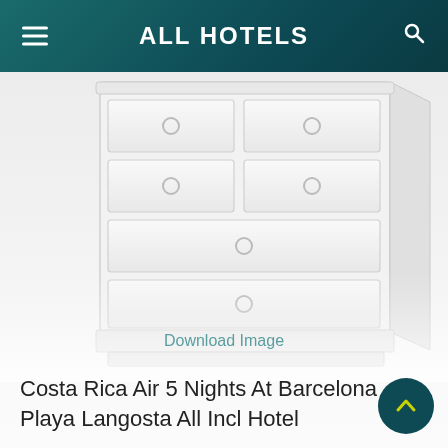ALL HOTELS
[Figure (illustration): Partial view of a white painted wooden dresser/chest of drawers with round handles, rendered in a light outline style against a light gray background. The image is cropped showing the lower portion of the furniture.]
Download Image
Costa Rica Air 5 Nights At Barcelona Playa Langosta All Incl Hotel